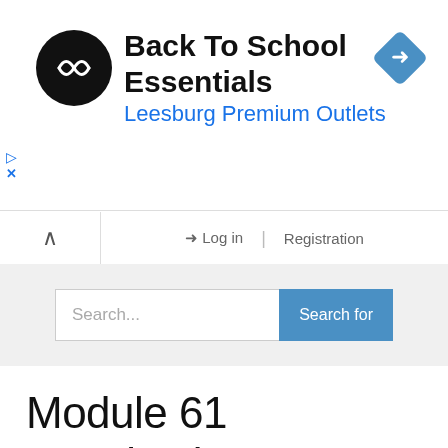[Figure (logo): Ad banner: Back To School Essentials at Leesburg Premium Outlets with circular logo and blue diamond navigation icon]
Log in | Registration
Search...  Search for
Module 61 Introduction to Monopoly